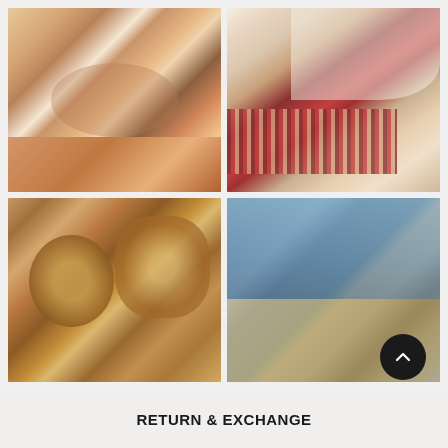[Figure (photo): Four-photo grid: top-left shows two people inspecting printed fabric on a table in a workshop; top-right shows a person weaving on a loom with red striped textile; bottom-left shows a close-up of ornate wooden block stamps used for fabric printing; bottom-right shows a styled table setting with blue ceramic bowls, dried flowers in a vase, against a blue wall.]
RETURN & EXCHANGE